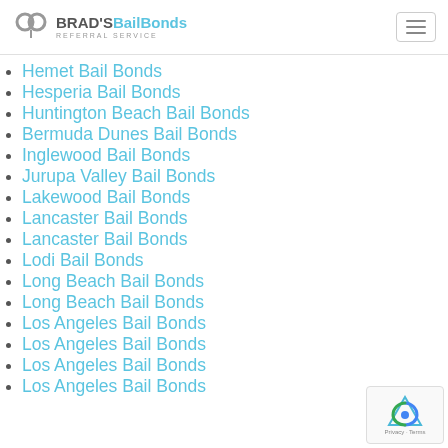BRAD's BailBonds REFERRAL SERVICE
Hemet Bail Bonds
Hesperia Bail Bonds
Huntington Beach Bail Bonds
Bermuda Dunes Bail Bonds
Inglewood Bail Bonds
Jurupa Valley Bail Bonds
Lakewood Bail Bonds
Lancaster Bail Bonds
Lancaster Bail Bonds
Lodi Bail Bonds
Long Beach Bail Bonds
Long Beach Bail Bonds
Los Angeles Bail Bonds
Los Angeles Bail Bonds
Los Angeles Bail Bonds
Los Angeles Bail Bonds